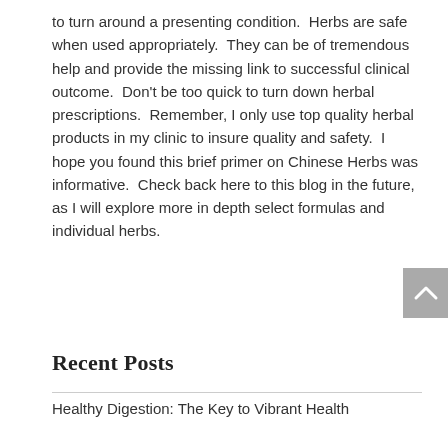to turn around a presenting condition.  Herbs are safe when used appropriately.  They can be of tremendous help and provide the missing link to successful clinical outcome.  Don't be too quick to turn down herbal prescriptions.  Remember, I only use top quality herbal products in my clinic to insure quality and safety.  I hope you found this brief primer on Chinese Herbs was informative.  Check back here to this blog in the future, as I will explore more in depth select formulas and individual herbs.
[Figure (other): Search input box with Search button]
Recent Posts
Healthy Digestion: The Key to Vibrant Health